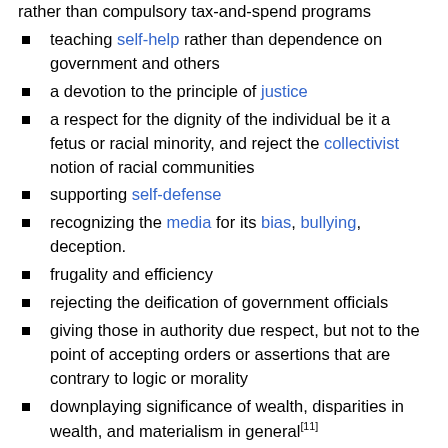rather than compulsory tax-and-spend programs
teaching self-help rather than dependence on government and others
a devotion to the principle of justice
a respect for the dignity of the individual be it a fetus or racial minority, and reject the collectivist notion of racial communities
supporting self-defense
recognizing the media for its bias, bullying, deception.
frugality and efficiency
rejecting the deification of government officials
giving those in authority due respect, but not to the point of accepting orders or assertions that are contrary to logic or morality
downplaying significance of wealth, disparities in wealth, and materialism in general[11]
emphasizing self-reliance and being able to keep the fruits of one's labor